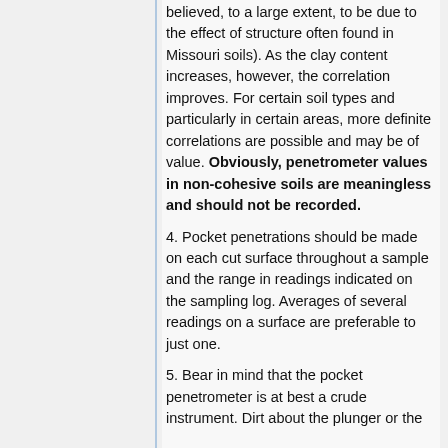believed, to a large extent, to be due to the effect of structure often found in Missouri soils). As the clay content increases, however, the correlation improves. For certain soil types and particularly in certain areas, more definite correlations are possible and may be of value. Obviously, penetrometer values in non-cohesive soils are meaningless and should not be recorded.
4. Pocket penetrations should be made on each cut surface throughout a sample and the range in readings indicated on the sampling log. Averages of several readings on a surface are preferable to just one.
5. Bear in mind that the pocket penetrometer is at best a crude instrument. Dirt about the plunger or the